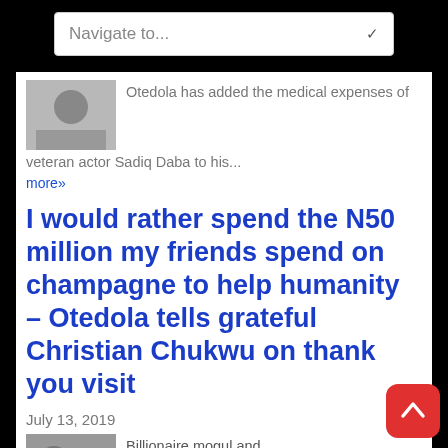Navigate to...
Otedola has added the medical expenses of veteran actor Sadiq Daba to his...
more»
I would rather spend the N50 million my friends spend on champagne to help humanity – Otedola tells grateful Christian Chukwu on thank you visit
July 13, 2019
Billionaire mogul and